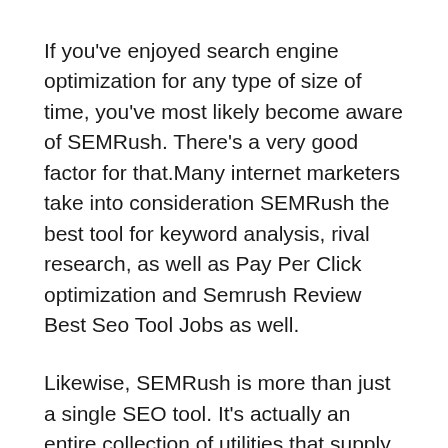If you've enjoyed search engine optimization for any type of size of time, you've most likely become aware of SEMRush. There's a very good factor for that.Many internet marketers take into consideration SEMRush the best tool for keyword analysis, rival research, as well as Pay Per Click optimization and Semrush Review Best Seo Tool Jobs as well.
Likewise, SEMRush is more than just a single SEO tool. It's actually an entire collection of utilities that supply a selection of insights to aid you build brand-name recognition, get to new clients, and also produce even more sales.